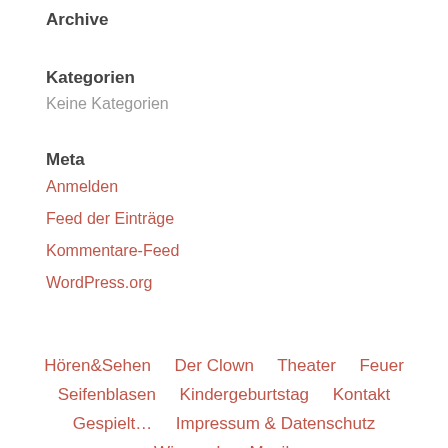Archive
Kategorien
Keine Kategorien
Meta
Anmelden
Feed der Einträge
Kommentare-Feed
WordPress.org
Hören&Sehen    Der Clown    Theater    Feuer    Seifenblasen    Kindergeburtstag    Kontakt    Gespielt…    Impressum & Datenschutz    Wir machen Musik